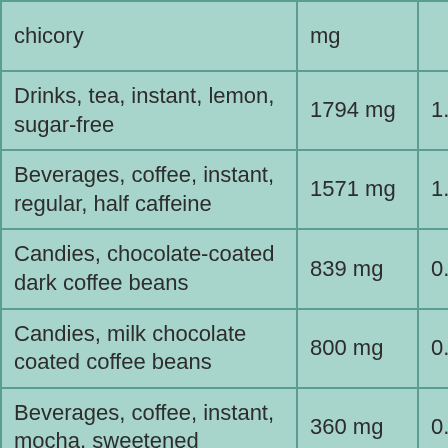| Food | Amount | Percent |
| --- | --- | --- |
| chicory | mg |  |
| Drinks, tea, instant, lemon, sugar-free | 1794 mg | 1.79% |
| Beverages, coffee, instant, regular, half caffeine | 1571 mg | 1.57% |
| Candies, chocolate-coated dark coffee beans | 839 mg | 0.84% |
| Candies, milk chocolate coated coffee beans | 800 mg | 0.8% |
| Beverages, coffee, instant, mocha, sweetened | 360 mg | 0.36% |